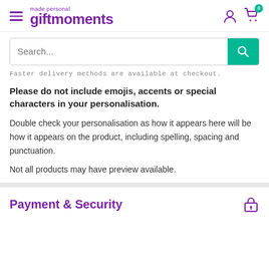gift moments made personal — navigation header with search bar
Faster delivery methods are available at checkout.
Please do not include emojis, accents or special characters in your personalisation.
Double check your personalisation as how it appears here will be how it appears on the product, including spelling, spacing and punctuation.
Not all products may have preview available.
Payment & Security